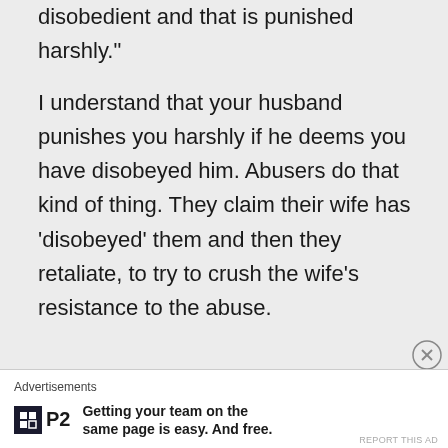disobedient and that is punished harshly."

I understand that your husband punishes you harshly if he deems you have disobeyed him. Abusers do that kind of thing. They claim their wife has ‘disobeyed’ them and then they retaliate, to try to crush the wife’s resistance to the abuse.
Advertisements
[Figure (logo): P2 logo with dark square icon and bold P2 text, followed by ad copy: Getting your team on the same page is easy. And free.]